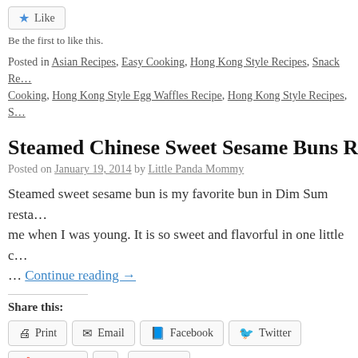Like
Be the first to like this.
Posted in Asian Recipes, Easy Cooking, Hong Kong Style Recipes, Snack Recipes ... Easy Cooking, Hong Kong Style Egg Waffles Recipe, Hong Kong Style Recipes, S...
Steamed Chinese Sweet Sesame Buns R…
Posted on January 19, 2014 by Little Panda Mommy
Steamed sweet sesame bun is my favorite bun in Dim Sum resta… me when I was young. It is so sweet and flavorful in one little c… … Continue reading →
Share this:
Print  Email  Facebook  Twitter  Pinterest  Tumblr
Like this